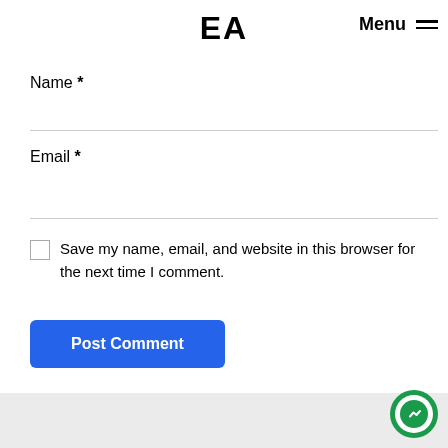EA  Menu
Name *
Email *
Save my name, email, and website in this browser for the next time I comment.
Post Comment